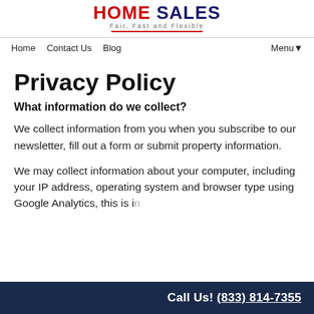HOME SALES — Fair, Fast and Flexible
Home   Contact Us   Blog   Menu▾
Privacy Policy
What information do we collect?
We collect information from you when you subscribe to our newsletter, fill out a form or submit property information.
We may collect information about your computer, including your IP address, operating system and browser type using Google Analytics, this is…
Call Us! (833) 814-7355